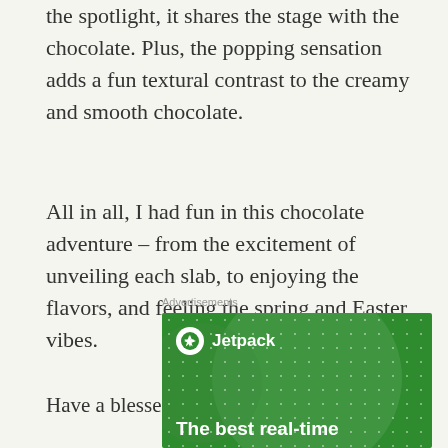the spotlight, it shares the stage with the chocolate. Plus, the popping sensation adds a fun textural contrast to the creamy and smooth chocolate.
All in all, I had fun in this chocolate adventure – from the excitement of unveiling each slab, to enjoying the flavors, and feeling the spring and Easter vibes.
Have a blessed Easter, dear friends!
Advertisements
[Figure (screenshot): Jetpack advertisement banner with green background, Jetpack logo (white circle with lightning bolt icon), and partial headline text 'The best real-time']